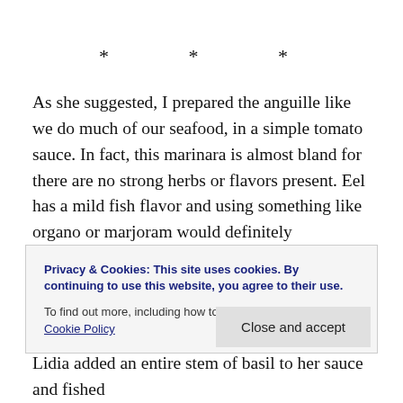* * *
As she suggested, I prepared the anguille like we do much of our seafood, in a simple tomato sauce. In fact, this marinara is almost bland for there are no strong herbs or flavors present. Eel has a mild fish flavor and using something like organo or marjoram would definitely overpower it, leaving a tomato sauce devoid of any taste of seafood. We agreed that the eel might disintegrate if allowed to cook entirely in the sauce, so it was briefly pan
Privacy & Cookies: This site uses cookies. By continuing to use this website, you agree to their use.
To find out more, including how to control cookies, see here: Cookie Policy
Close and accept
Lidia added an entire stem of basil to her sauce and fished